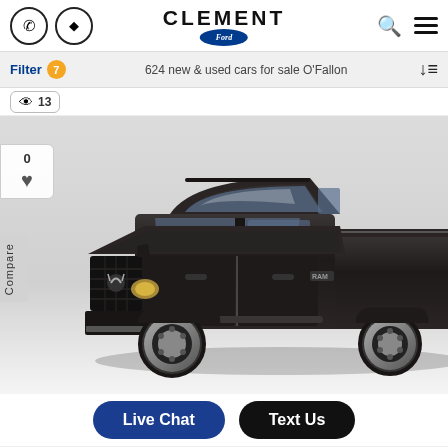CLEMENT Ford — navigation header with phone, directions, search, and menu icons
Filter 7   624 new & used cars for sale O'Fallon
👁 13
[Figure (photo): Dark gray/black 2014 Ram 1500 Express pickup truck, crew cab, facing right on white background. Compare sidebar on left with 0 saves and heart icon. 'Compare' text rotated vertically.]
Live Chat   Text Us
2014 Ram 1500 Express   $18,000